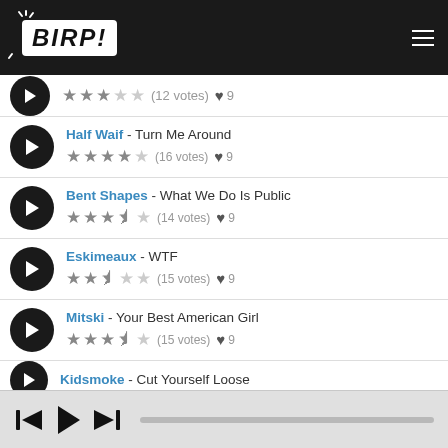[Figure (screenshot): BIRP! music app logo in white on dark header with hamburger menu icon]
(12 votes) 9 [3 filled stars, 1 half star, 1 empty star]
Half Waif - Turn Me Around ★★★★☆ (16 votes) ♥ 9
Bent Shapes - What We Do Is Public ★★★½☆ (14 votes) ♥ 9
Eskimeaux - WTF ★★½☆☆ (15 votes) ♥ 9
Mitski - Your Best American Girl ★★★½☆ (15 votes) ♥ 9
Kidsmoke - Cut Yourself Loose (partial)